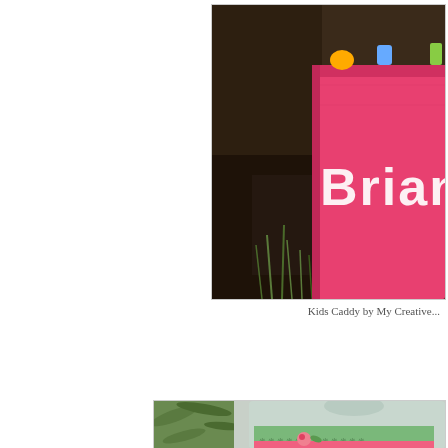[Figure (photo): Outdoor photo of a pink wooden caddy/box labeled 'Briana' in white letters, filled with toys and Easter items, sitting on dark mulch with grass in the background]
Kids Caddy by My Creative...
[Figure (photo): A glass apothecary jar with a lid containing pink and green patterned paper/ribbon and floral decorations, with bamboo plant leaves visible in background]